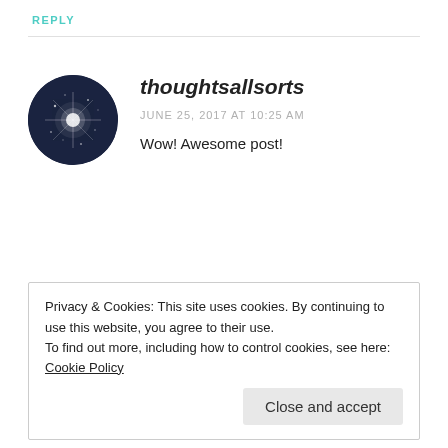REPLY
[Figure (photo): Circular avatar image of thoughtsallsorts blog — dark navy background with a star/sparkle graphic in center]
thoughtsallsorts
JUNE 25, 2017 AT 10:25 AM
Wow! Awesome post!
Privacy & Cookies: This site uses cookies. By continuing to use this website, you agree to their use.
To find out more, including how to control cookies, see here: Cookie Policy
Close and accept